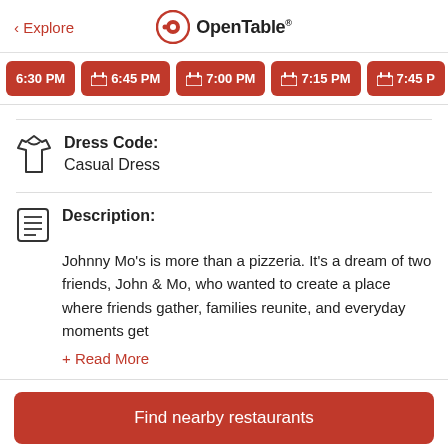< Explore | OpenTable
[Figure (screenshot): Time slot buttons: 6:30 PM, 6:45 PM, 7:00 PM, 7:15 PM, 7:45 PM]
Dress Code: Casual Dress
Description: Johnny Mo's is more than a pizzeria. It's a dream of two friends, John & Mo, who wanted to create a place where friends gather, families reunite, and everyday moments get
+ Read More
Find nearby restaurants